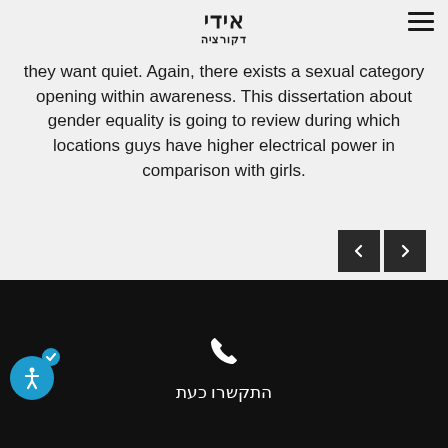אידי דקורציה
they want quiet. Again, there exists a sexual category opening within awareness. This dissertation about gender equality is going to review during which locations guys have higher electrical power in comparison with girls.
[Figure (other): Navigation left and right arrow buttons]
התקשרו כעת